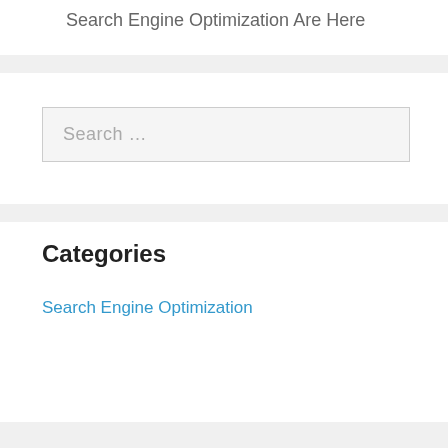Search Engine Optimization Are Here
Categories
Search Engine Optimization